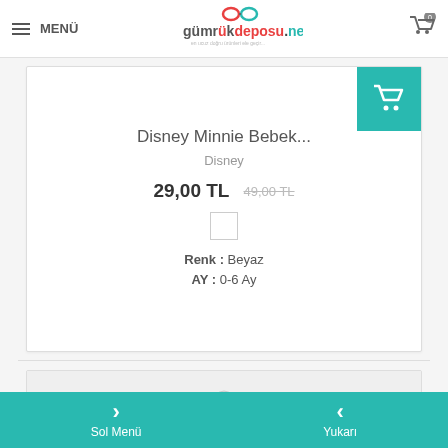MENÜ | gümrükdeposu.net | Cart (0)
[Figure (screenshot): Product card showing Disney Minnie Bebek... by Disney, price 29,00 TL (original 49,00 TL), with color swatch (Beyaz), size 0-6 Ay, and teal add-to-cart button]
Disney Minnie Bebek...
Disney
29,00 TL  49,00 TL
Renk :  Beyaz
AY :  0-6 Ay
[Figure (photo): Second product card showing a small white earphone/earbud on white background]
Sol Menü    Yukarı